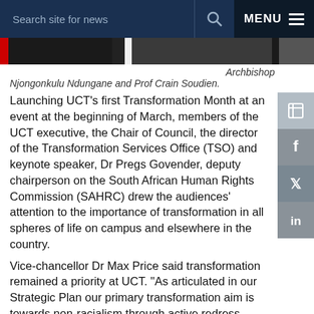Search site for news  MENU
[Figure (photo): Partial photo strip showing a group photo, partially cropped]
Archbishop Njongonkulu Ndungane and Prof Crain Soudien.
Launching UCT's first Transformation Month at an event at the beginning of March, members of the UCT executive, the Chair of Council, the director of the Transformation Services Office (TSO) and keynote speaker, Dr Pregs Govender, deputy chairperson on the South African Human Rights Commission (SAHRC) drew the audiences' attention to the importance of transformation in all spheres of life on campus and elsewhere in the country.
Vice-chancellor Dr Max Price said transformation remained a priority at UCT. "As articulated in our Strategic Plan our primary transformation aim is towards non-racialism through active redress,